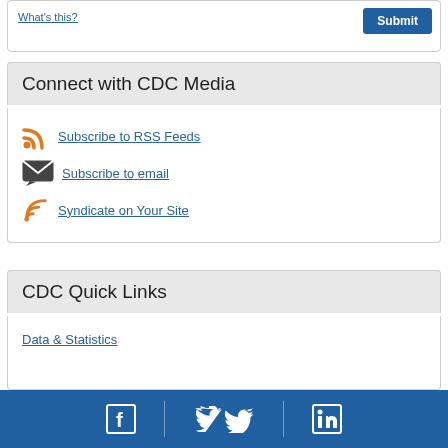What's this?
Submit
Connect with CDC Media
Subscribe to RSS Feeds
Subscribe to email
Syndicate on Your Site
CDC Quick Links
Data & Statistics
[Figure (other): Footer bar with Facebook, Twitter, and LinkedIn social media icons separated by vertical dividers on a blue background]